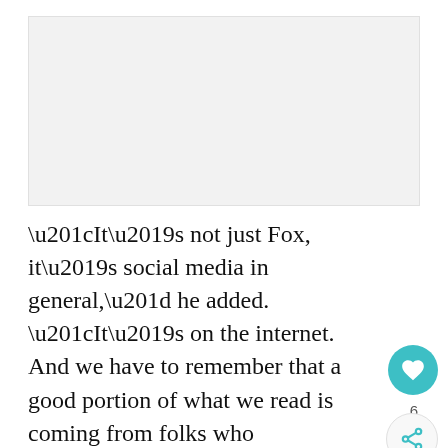[Figure (other): Gray advertisement placeholder box]
“It’s not just Fox, it’s social media in general,” he added. “It’s on the internet. And we have to remember that a good portion of what we read is coming from folks who aren’t Americans, pretending to be Americans in order to gaslight them even worse.”